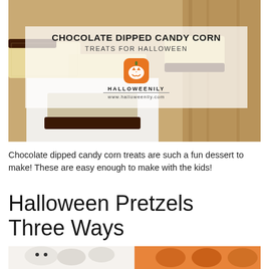[Figure (photo): Photo of chocolate dipped candy corn rice crispy treats on a wooden board, with overlay text box showing title 'CHOCOLATE DIPPED CANDY CORN TREATS FOR HALLOWEEN' and Halloweenily pumpkin logo and URL www.halloweenily.com]
Chocolate dipped candy corn treats are such a fun dessert to make! These are easy enough to make with the kids!
Halloween Pretzels Three Ways
[Figure (photo): Photo of Halloween pretzels decorated as ghosts and pumpkins]